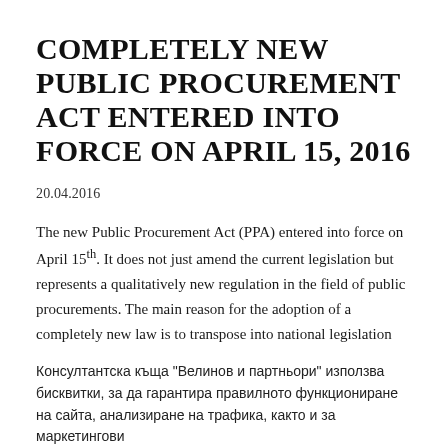COMPLETELY NEW PUBLIC PROCUREMENT ACT ENTERED INTO FORCE ON APRIL 15, 2016
20.04.2016
The new Public Procurement Act (PPA) entered into force on April 15th. It does not just amend the current legislation but represents a qualitatively new regulation in the field of public procurements. The main reason for the adoption of a completely new law is to transpose into national legislation two Directives that were adopted by
Консултантска къща "Велинов и партньори" използва бисквитки, за да гарантира правилното функциониране на сайта, анализиране на трафика, както и за маркетингови